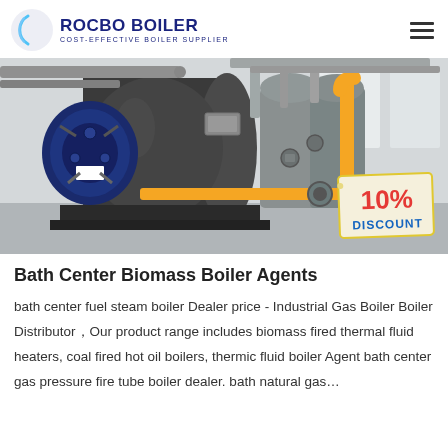ROCBO BOILER — COST-EFFECTIVE BOILER SUPPLIER
[Figure (photo): Industrial boiler room with large cylindrical boilers, blue burner front, yellow gas pipes, and piping infrastructure. A '10% DISCOUNT' tag is overlaid in the bottom-right corner.]
Bath Center Biomass Boiler Agents
bath center fuel steam boiler Dealer price - Industrial Gas Boiler Boiler Distributor，Our product range includes biomass fired thermal fluid heaters, coal fired hot oil boilers, thermic fluid boiler Agent bath center gas pressure fire tube boiler dealer. bath natural gas…